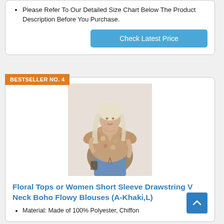Please Refer To Our Detailed Size Chart Below The Product Description Before You Purchase.
Check Latest Price
BESTSELLER NO. 4
[Figure (photo): Woman wearing a floral short sleeve V-neck blouse with drawstring, paired with light blue denim shorts. The top has a boho floral print in khaki/brown tones.]
Floral Tops or Women Short Sleeve Drawstring V Neck Boho Flowy Blouses (A-Khaki,L)
Material: Made of 100% Polyester, Chiffon